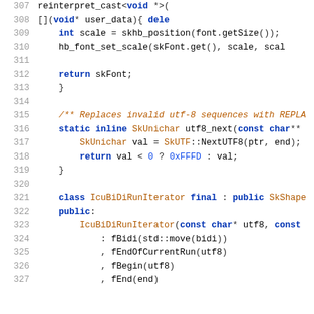Source code listing lines 307-327, C++ code involving font scaling, UTF-8 handling, and IcuBiDiRunIterator class definition.